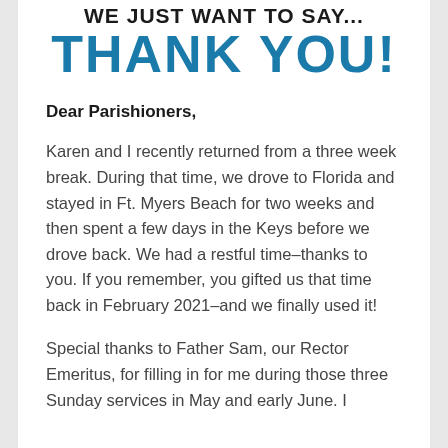WE JUST WANT TO SAY...
THANK YOU!
Dear Parishioners,
Karen and I recently returned from a three week break. During that time, we drove to Florida and stayed in Ft. Myers Beach for two weeks and then spent a few days in the Keys before we drove back. We had a restful time–thanks to you. If you remember, you gifted us that time back in February 2021–and we finally used it!
Special thanks to Father Sam, our Rector Emeritus, for filling in for me during those three Sunday services in May and early June. I